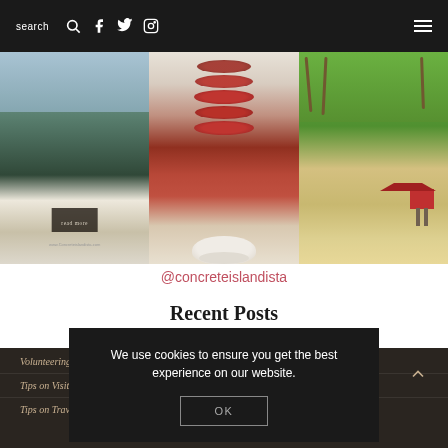search  [search icon] [facebook icon] [twitter icon] [instagram icon]  [hamburger menu]
[Figure (photo): Three Instagram photos side by side: left - black sand beach with waves and overlay text 'read more' and URL www.Concreteislandista.com, center - stacked red velvet cookies on a white pedestal plate, right - tropical beach scene with palm trees and a red lifeguard hut]
@concreteislandista
Recent Posts
Volunteering in Puerto Rico...
Tips on Visiting Puerto Rico...
Tips on Traveling Puerto Rico Part 2
We use cookies to ensure you get the best experience on our website.
OK